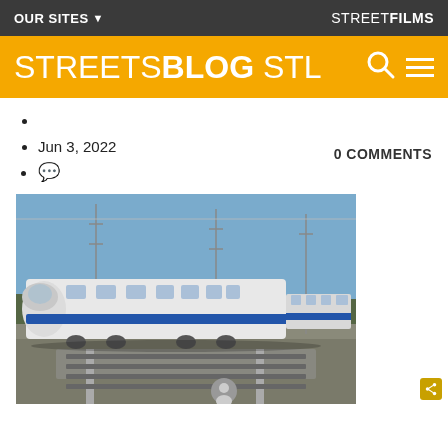OUR SITES ▼   STREETFILMS
STREETSBLOG STL
Jun 3, 2022
💬
0 COMMENTS
[Figure (photo): A white and blue high-speed train on railway tracks with power lines and pylons in the background under a blue sky.]